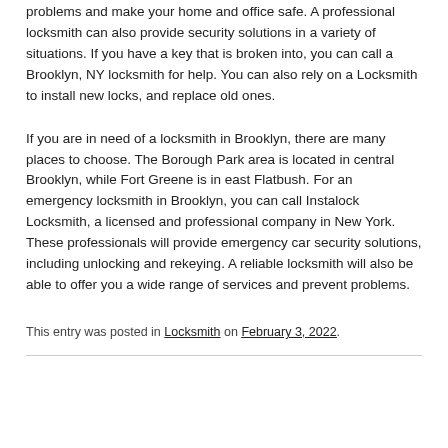problems and make your home and office safe. A professional locksmith can also provide security solutions in a variety of situations. If you have a key that is broken into, you can call a Brooklyn, NY locksmith for help. You can also rely on a Locksmith to install new locks, and replace old ones.
If you are in need of a locksmith in Brooklyn, there are many places to choose. The Borough Park area is located in central Brooklyn, while Fort Greene is in east Flatbush. For an emergency locksmith in Brooklyn, you can call Instalock Locksmith, a licensed and professional company in New York. These professionals will provide emergency car security solutions, including unlocking and rekeying. A reliable locksmith will also be able to offer you a wide range of services and prevent problems.
This entry was posted in Locksmith on February 3, 2022.